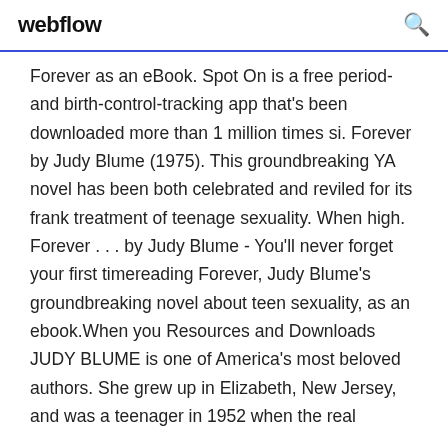webflow
Forever as an eBook. Spot On is a free period- and birth-control-tracking app that's been downloaded more than 1 million times si. Forever by Judy Blume (1975). This groundbreaking YA novel has been both celebrated and reviled for its frank treatment of teenage sexuality. When high. Forever . . . by Judy Blume - You'll never forget your first timereading Forever, Judy Blume's groundbreaking novel about teen sexuality, as an ebook.When you Resources and Downloads JUDY BLUME is one of America's most beloved authors. She grew up in Elizabeth, New Jersey, and was a teenager in 1952 when the real